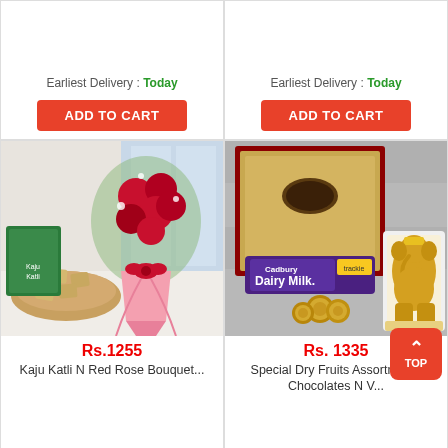[Figure (photo): Top-left product card (partial): Red Rose bouquet product with ADD TO CART button and delivery info]
Earliest Delivery : Today
ADD TO CART
[Figure (photo): Top-right product card (partial): Glass Vase product with ADD TO CART button and delivery info]
Earliest Delivery : Today
ADD TO CART
[Figure (photo): Bottom-left product card: Kaju Katli N Red Rose Bouquet with red roses and sweets photo]
Rs.1255
Kaju Katli N Red Rose Bouquet...
Earliest Delivery : Today
ADD TO CART
[Figure (photo): Bottom-right product card: Special Dry Fruits Assortments Chocolates N V with Dairy Milk and decorative tray photo]
Rs. 1335
Special Dry Fruits Assortments Chocolates N V...
Earliest Delivery : 8-Sep
ADD TO CART